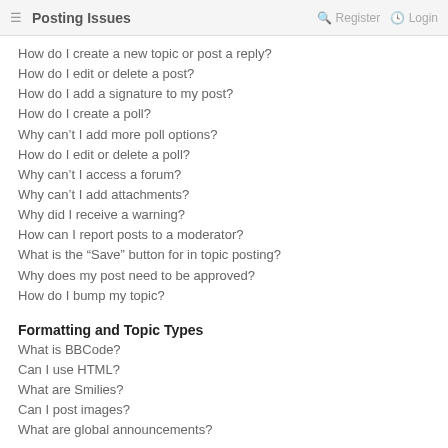Posting Issues · Register · Login
Posting Issues
How do I create a new topic or post a reply?
How do I edit or delete a post?
How do I add a signature to my post?
How do I create a poll?
Why can't I add more poll options?
How do I edit or delete a poll?
Why can't I access a forum?
Why can't I add attachments?
Why did I receive a warning?
How can I report posts to a moderator?
What is the “Save” button for in topic posting?
Why does my post need to be approved?
How do I bump my topic?
Formatting and Topic Types
What is BBCode?
Can I use HTML?
What are Smilies?
Can I post images?
What are global announcements?